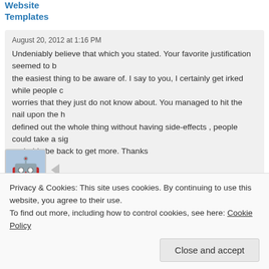Website Templates
August 20, 2012 at 1:16 PM
Undeniably believe that which you stated. Your favorite justification seemed to be the easiest thing to be aware of. I say to you, I certainly get irked while people consider worries that they just do not know about. You managed to hit the nail upon the head and defined out the whole thing without having side-effects , people could take a signal. Will probably be back to get more. Thanks
Like
👍 1  👎 0  ℹ Rate This
[Figure (illustration): User avatar icon for Gudrun Picone — cartoon face on blue background]
Gudrun Picone
August 20, 2012 at 4:43 PM
After I originally commented I clicked the -Notify me when new comments are added- checkbox and now each time a comment is added I get four emails with the identical
Privacy & Cookies: This site uses cookies. By continuing to use this website, you agree to their use.
To find out more, including how to control cookies, see here: Cookie Policy
Close and accept